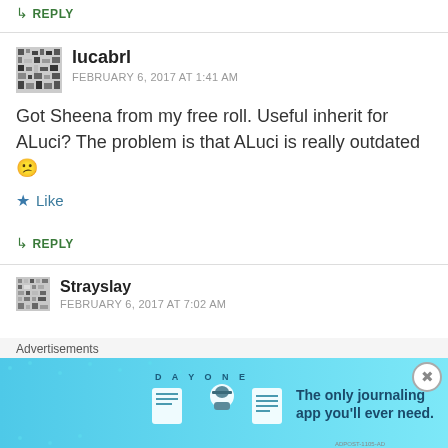↳ REPLY
lucabrl
FEBRUARY 6, 2017 AT 1:41 AM
Got Sheena from my free roll. Useful inherit for ALuci? The problem is that ALuci is really outdated 😕
Like
↳ REPLY
Strayslay
FEBRUARY 6, 2017 AT 7:02 AM
Advertisements
[Figure (illustration): Day One journaling app advertisement banner with light blue gradient background, app icons, and text 'The only journaling app you'll ever need.']